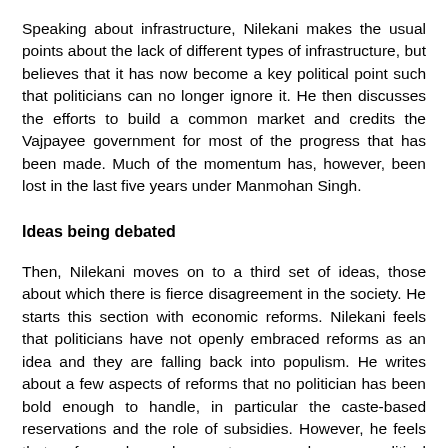Speaking about infrastructure, Nilekani makes the usual points about the lack of different types of infrastructure, but believes that it has now become a key political point such that politicians can no longer ignore it. He then discusses the efforts to build a common market and credits the Vajpayee government for most of the progress that has been made. Much of the momentum has, however, been lost in the last five years under Manmohan Singh.
Ideas being debated
Then, Nilekani moves on to a third set of ideas, those about which there is fierce disagreement in the society. He starts this section with economic reforms. Nilekani feels that politicians have not openly embraced reforms as an idea and they are falling back into populism. He writes about a few aspects of reforms that no politician has been bold enough to handle, in particular the caste-based reservations and the role of subsidies. However, he feels that reforms have begun to succeed as a political argument. A case in point is Narendra Modi, who is feted for the economic dynamism of Gujarat, despite the reservations about the role of his administration in the 2002 massacre